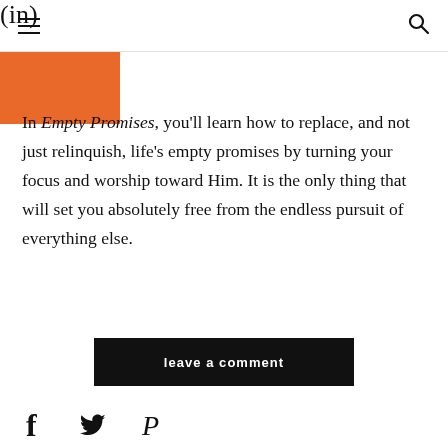(in)
[Figure (photo): Orange/red partial image visible at top left, cropped]
In Empty Promises, you'll learn how to replace, and not just relinquish, life's empty promises by turning your focus and worship toward Him. It is the only thing that will set you absolutely free from the endless pursuit of everything else.
leave a comment
[Figure (infographic): Social media icons: Facebook, Twitter, Pinterest]